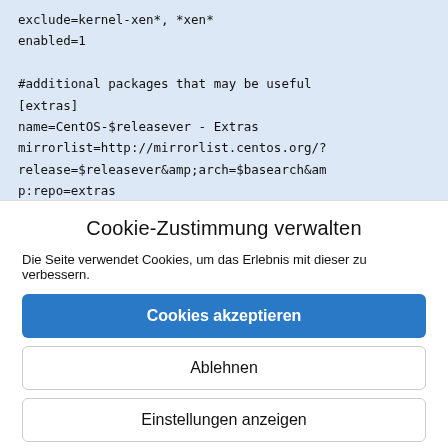exclude=kernel-xen*, *xen*
enabled=1

#additional packages that may be useful
[extras]
name=CentOS-$releasever - Extras
mirrorlist=http://mirrorlist.centos.org/?release=$releasever&arch=$basearch&amp;p:repo=extras
Cookie-Zustimmung verwalten
Die Seite verwendet Cookies, um das Erlebnis mit dieser zu verbessern.
Cookies akzeptieren
Ablehnen
Einstellungen anzeigen